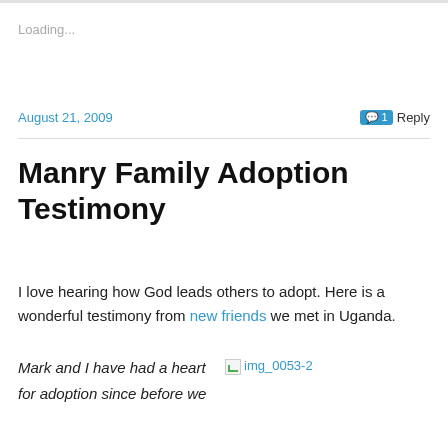Loading...
August 21, 2009
1 Reply
Manry Family Adoption Testimony
I love hearing how God leads others to adopt. Here is a wonderful testimony from new friends we met in Uganda.
Mark and I have had a heart for adoption since before we
[Figure (other): Broken image placeholder labeled img_0053-2]